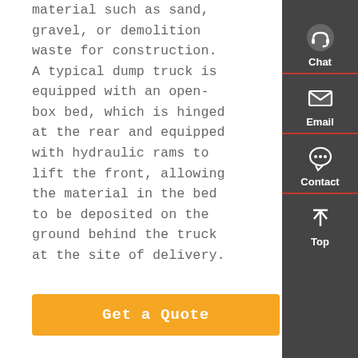material such as sand, gravel, or demolition waste for construction. A typical dump truck is equipped with an open-box bed, which is hinged at the rear and equipped with hydraulic rams to lift the front, allowing the material in the bed to be deposited on the ground behind the truck at the site of delivery.
[Figure (infographic): Dark sidebar with Chat (headset icon), Email (envelope icon), Contact (speech bubble icon), and Top (up arrow icon) buttons stacked vertically with red dividers.]
Get a Quote